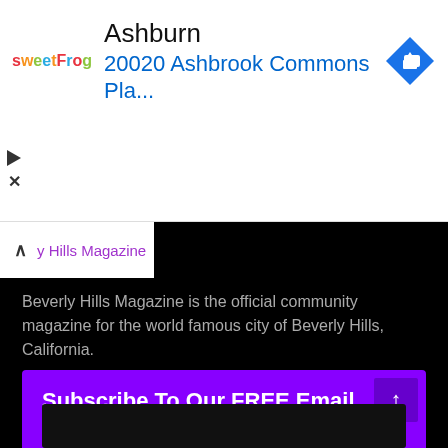[Figure (screenshot): sweetFrog advertisement banner showing 'Ashburn' heading and '20020 Ashbrook Commons Pla...' address in blue, with navigation arrow icon]
Beverly Hills Magazine
Beverly Hills Magazine is the official community magazine for the world famous city of Beverly Hills, California.
Subscribe To Our FREE Email Magazine
Email*
Type your email